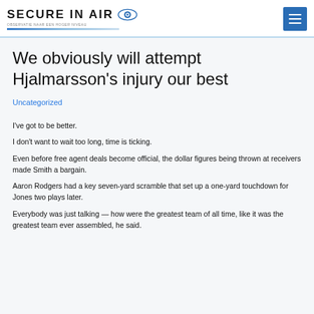SECURE IN AIR
We obviously will attempt Hjalmarsson’s injury our best
Uncategorized
I’ve got to be better.
I don’t want to wait too long, time is ticking.
Even before free agent deals become official, the dollar figures being thrown at receivers made Smith a bargain.
Aaron Rodgers had a key seven-yard scramble that set up a one-yard touchdown for Jones two plays later.
Everybody was just talking — how were the greatest team of all time, like it was the greatest team ever assembled, he said.